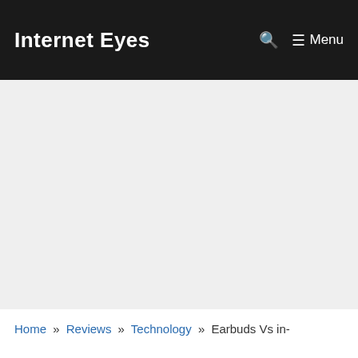Internet Eyes
[Figure (other): Advertisement/blank gray area placeholder]
Home » Reviews » Technology » Earbuds Vs in-